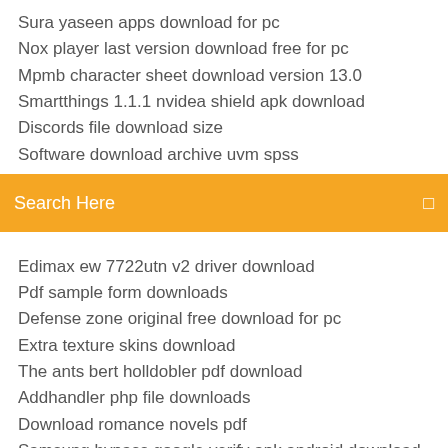Sura yaseen apps download for pc
Nox player last version download free for pc
Mpmb character sheet download version 13.0
Smartthings 1.1.1 nvidea shield apk download
Discords file download size
Software download archive uvm spss
[Figure (screenshot): Orange search bar with text 'Search Here' and a small icon on the right]
Edimax ew 7722utn v2 driver download
Pdf sample form downloads
Defense zone original free download for pc
Extra texture skins download
The ants bert holldobler pdf download
Addhandler php file downloads
Download romance novels pdf
Samsung bypass google verify apk android download
Crack download for android gunship battle helicopter 2.5.90